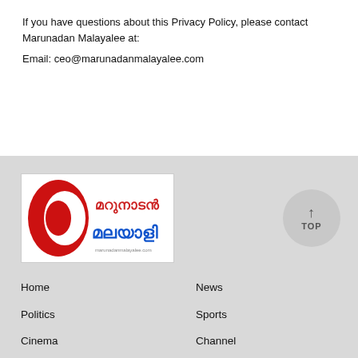If you have questions about this Privacy Policy, please contact Marunadan Malayalee at:
Email: ceo@marunadanmalayalee.com
[Figure (logo): Marunadan Malayalee logo with red stylized '2' icon and Malayalam script text]
Home
Politics
Cinema
Money
Interview
Opinion
Column
News
Sports
Channel
Religion
Scitech
Feature
More